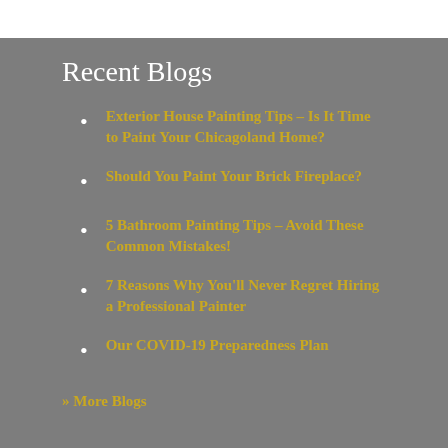Recent Blogs
Exterior House Painting Tips – Is It Time to Paint Your Chicagoland Home?
Should You Paint Your Brick Fireplace?
5 Bathroom Painting Tips – Avoid These Common Mistakes!
7 Reasons Why You'll Never Regret Hiring a Professional Painter
Our COVID-19 Preparedness Plan
» More Blogs